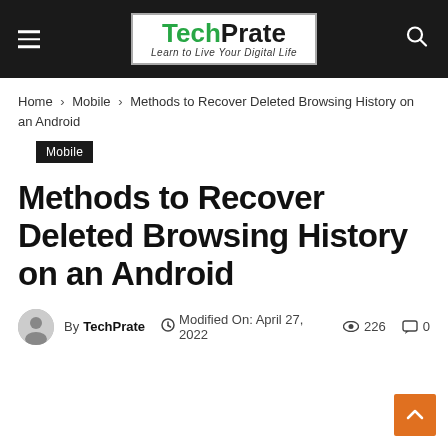TechPrate — Learn to Live Your Digital Life
Home › Mobile › Methods to Recover Deleted Browsing History on an Android
Mobile
Methods to Recover Deleted Browsing History on an Android
By TechPrate  Modified On: April 27, 2022  226  0